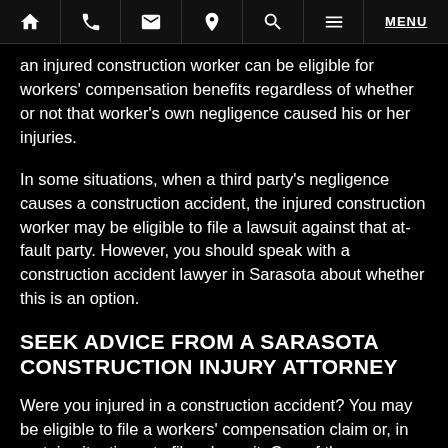🏠 📞 ✉ 📍 🔍 ☰ MENU
an injured construction worker can be eligible for workers' compensation benefits regardless of whether or not that worker's own negligence caused his or her injuries.
In some situations, when a third party's negligence causes a construction accident, the injured construction worker may be eligible to file a lawsuit against that at-fault party. However, you should speak with a construction accident lawyer in Sarasota about whether this is an option.
SEEK ADVICE FROM A SARASOTA CONSTRUCTION INJURY ATTORNEY
Were you injured in a construction accident? You may be eligible to file a workers' compensation claim or, in certain situations, to file a lawsuit. One of the experienced Sarasota construction accident lawyers at our firm can